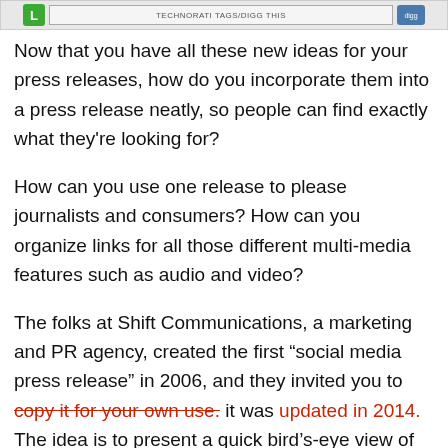[Figure (screenshot): Top bar showing a green icon, a Technorati tags/Digg This input bar, and a small blue Digg button]
Now that you have all these new ideas for your press releases, how do you incorporate them into a press release neatly, so people can find exactly what they're looking for?
How can you use one release to please journalists and consumers? How can you organize links for all those different multi-media features such as audio and video?
The folks at Shift Communications, a marketing and PR agency, created the first “social media press release” in 2006, and they invited you to copy it for your own use. it was updated in 2014. The idea is to present a quick bird’s-eye view of the news in a format that will encourage sharing on social media.